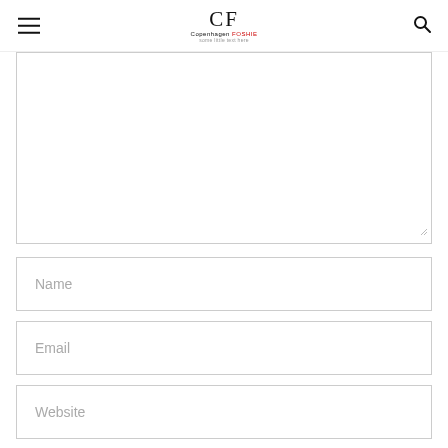CF Copenhagen FOSHIE — hamburger menu and search icon
[Figure (screenshot): Textarea (comment box) with resize handle in bottom-right corner, partially cropped at top]
Name
Email
Website
Save my name, email, and website in this browser for the next time I comment.